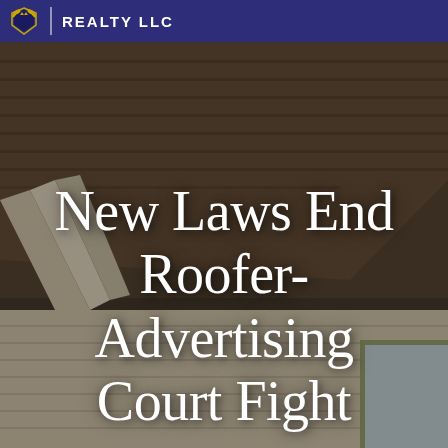[Figure (photo): Background photo of a house roofline and siding with beige/tan vinyl siding and brown shingle roof, viewed from below at an angle, with a window partially visible on the right side.]
REALTY LLC
New Laws End Roofer-Advertising Court Fight